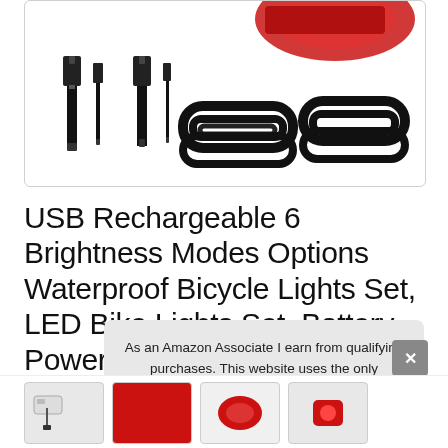[Figure (photo): Product image showing USB cables and rubber mounting straps/brackets on white background inside a rounded-corner box]
USB Rechargeable 6 Brightness Modes Options Waterproof Bicycle Lights Set, LED Bike Lights Set, Battery Powered Cycling Front and Rear Light Perfect for Mo...
As an Amazon Associate I earn from qualifying purchases. This website uses the only necessary cookies to ensure you get the best experience on our website. More information
[Figure (photo): Small thumbnail images of bicycle lights product at the bottom of the page]